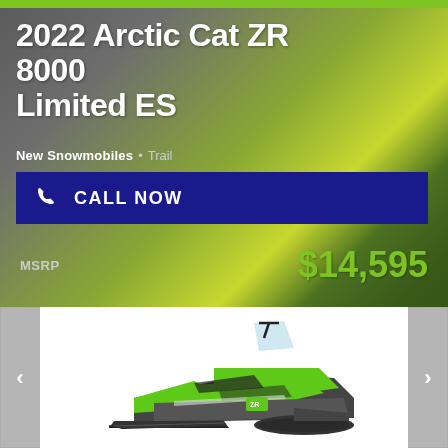2022 Arctic Cat ZR 8000 Limited ES
New Snowmobiles • Trail
CALL NOW
MSRP $14,595
[Figure (photo): Green and black 2022 Arctic Cat ZR 8000 Limited ES snowmobile on white background]